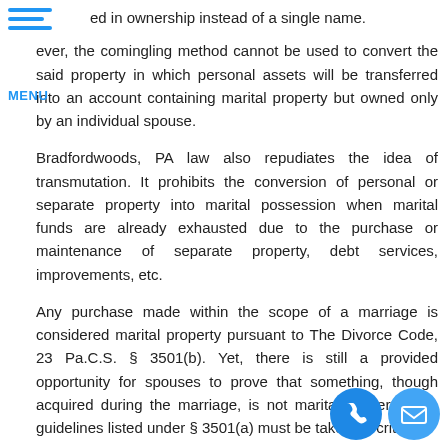MENU
ed in ownership instead of a single name.
ever, the comingling method cannot be used to convert the said property in which personal assets will be transferred into an account containing marital property but owned only by an individual spouse.
Bradfordwoods, PA law also repudiates the idea of transmutation. It prohibits the conversion of personal or separate property into marital possession when marital funds are already exhausted due to the purchase or maintenance of separate property, debt services, improvements, etc.
Any purchase made within the scope of a marriage is considered marital property pursuant to The Divorce Code, 23 Pa.C.S. § 3501(b). Yet, there is still a provided opportunity for spouses to prove that something, though acquired during the marriage, is not marital property. The guidelines listed under § 3501(a) must be taken as criteria.
If any property gets mixed up, it is important to do a or